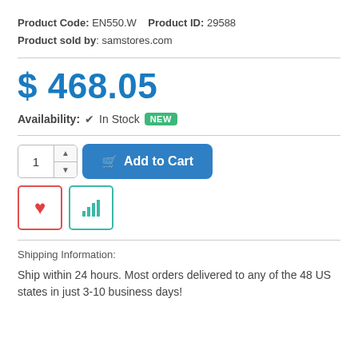Product Code: EN550.W   Product ID: 29588
Product sold by: samstores.com
$ 468.05
Availability: ✔ In Stock  NEW
[Figure (screenshot): Quantity selector with up/down arrows, Add to Cart button, heart/wishlist button, and chart/compare button]
Shipping Information:
Ship within 24 hours. Most orders delivered to any of the 48 US states in just 3-10 business days!